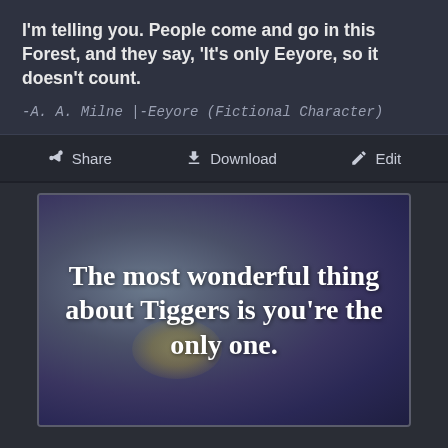I'm telling you. People come and go in this Forest, and they say, 'It's only Eeyore, so it doesn't count.
-A. A. Milne |-Eeyore (Fictional Character)
Share  Download  Edit
[Figure (illustration): Quote card with blurred purple-blue gradient background and yellow-green bokeh blob, displaying text: 'The most wonderful thing about Tiggers is you're the only one.' in bold white serif font]